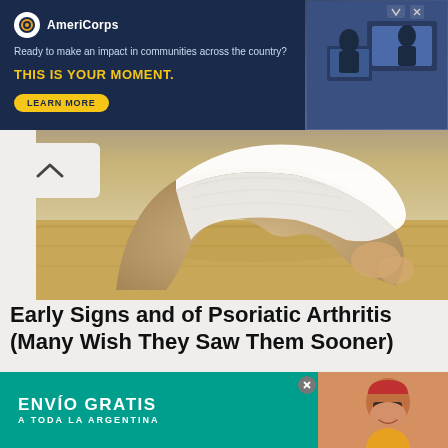[Figure (photo): AmeriCorps advertisement banner with dark navy background. Logo on left, people working at computers on right. Text: Ready to make an impact in communities across the country? THIS IS YOUR MOMENT. LEARN MORE button.]
[Figure (photo): Close-up photo of a foot/ankle with a white bandage or cast wrap on a light wooden surface background.]
Early Signs and of Psoriatic Arthritis (Many Wish They Saw Them Sooner)
Psoriatic Arthritis | Search Ads | Sponsored
[Figure (photo): Medical/clinical setting showing body contouring procedure. Contains a badge showing '25 body contouring'. A down arrow chevron icon is visible.]
[Figure (photo): Popup advertisement with teal/green background reading ENVÍO GRATIS A TODA LA ARGENTINA. Person with red beanie hat and sunglasses smiling on the right side.]